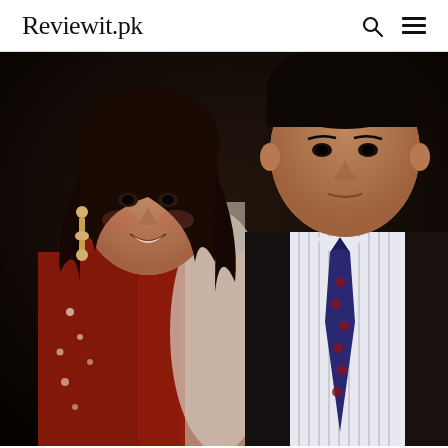Reviewit.pk
[Figure (photo): Vintage photograph of a young woman wearing a red embroidered shalwar kameez with dangling earrings, smiling, standing next to a young man wearing a striped shirt and dark navy blue tie with floral pattern, against a dark background.]